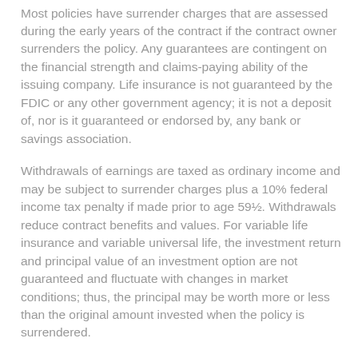Most policies have surrender charges that are assessed during the early years of the contract if the contract owner surrenders the policy. Any guarantees are contingent on the financial strength and claims-paying ability of the issuing company. Life insurance is not guaranteed by the FDIC or any other government agency; it is not a deposit of, nor is it guaranteed or endorsed by, any bank or savings association.
Withdrawals of earnings are taxed as ordinary income and may be subject to surrender charges plus a 10% federal income tax penalty if made prior to age 59½. Withdrawals reduce contract benefits and values. For variable life insurance and variable universal life, the investment return and principal value of an investment option are not guaranteed and fluctuate with changes in market conditions; thus, the principal may be worth more or less than the original amount invested when the policy is surrendered.
Variable life and variable universal life are sold by